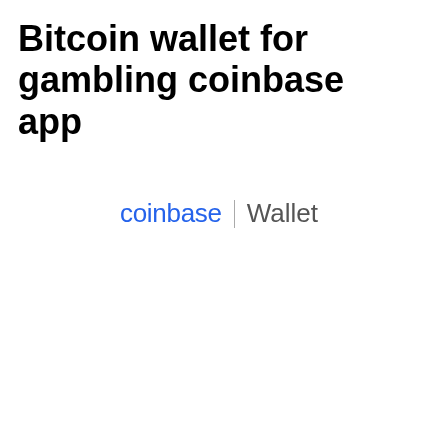Bitcoin wallet for gambling coinbase app
[Figure (logo): Coinbase Wallet logo: the word 'coinbase' in blue followed by a vertical divider and 'Wallet' in grey]